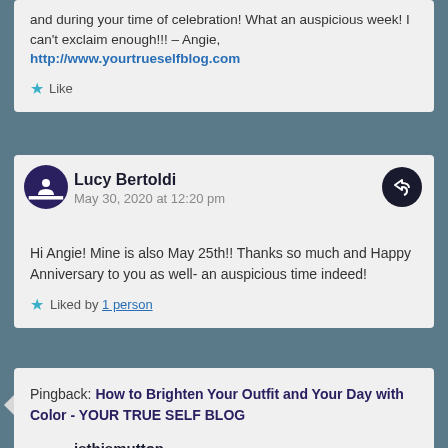and during your time of celebration! What an auspicious week! I can't exclaim enough!!! – Angie, http://www.yourtrueselfblog.com
Like
Lucy Bertoldi
May 30, 2020 at 12:20 pm
Hi Angie! Mine is also May 25th!! Thanks so much and Happy Anniversary to you as well- an auspicious time indeed!
Liked by 1 person
Pingback: How to Brighten Your Outfit and Your Day with Color - YOUR TRUE SELF BLOG
isthismutton